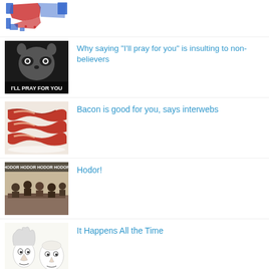[Figure (other): US electoral map with red and blue states]
[Figure (photo): Raccoon meme with text 'I'LL PRAY FOR YOU']
Why saying "I'll pray for you" is insulting to non-believers
[Figure (photo): Strips of bacon on a plate]
Bacon is good for you, says interwebs
[Figure (photo): People seated around a table at a meeting]
Hodor!
[Figure (illustration): Cartoon caricature drawings of two people]
It Happens All the Time